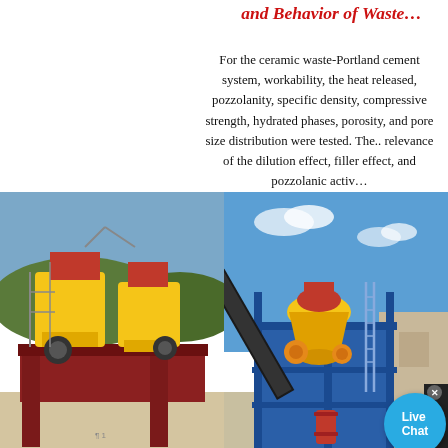and Behavior of Waste…
For the ceramic waste-Portland cement system, workability, the heat released, pozzolanity, specific density, compressive strength, hydrated phases, porosity, and pore size distribution were tested. The.. relevance of the dilution effect, filler effect, and pozzolanic activ…
[Figure (photo): Two photos of industrial crushing/mining machinery. Left: yellow jaw crusher on red steel frame at an outdoor site with sandy ground and green hills in background. Right: yellow cone crusher on blue steel structure at outdoor industrial site with blue sky.]